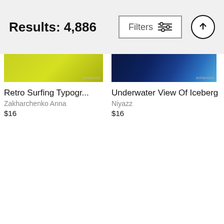Results: 4,886
Filters
[Figure (screenshot): Retro Surfing Typogr... thumbnail — yellow-green gradient image]
Retro Surfing Typogr...
Zakharchenko Anna
$16
[Figure (screenshot): Underwater View Of Iceberg thumbnail — dark blue to light blue gradient image]
Underwater View Of Iceberg
Niyazz
$16